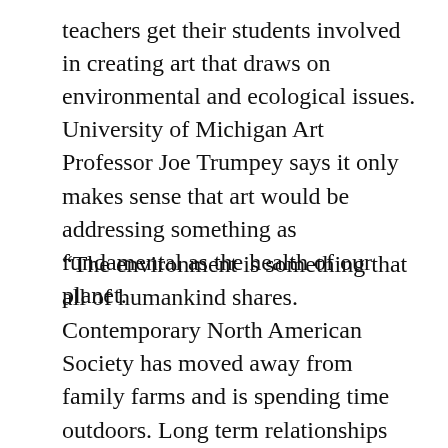teachers get their students involved in creating art that draws on environmental and ecological issues. University of Michigan Art Professor Joe Trumpey says it only makes sense that art would be addressing something as fundamental as the health of our planet.
“The environment is something that all of humankind shares. Contemporary North American Society has moved away from family farms and is spending time outdoors. Long term relationships outdoors mean a weekend here and a weekend there I don’t think is the same sort of relationship as we had 100 years ago. So, for me, to build work that highlights